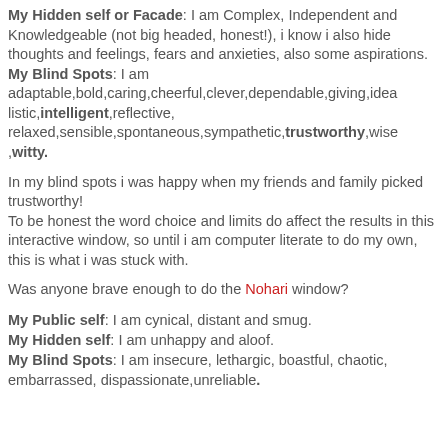My Hidden self or Facade: I am Complex, Independent and Knowledgeable (not big headed, honest!), i know i also hide thoughts and feelings, fears and anxieties, also some aspirations.
My Blind Spots: I am adaptable,bold,caring,cheerful,clever,dependable,giving,idealistic,intelligent,reflective,relaxed,sensible,spontaneous,sympathetic,trustworthy,wise,witty.
In my blind spots i was happy when my friends and family picked trustworthy!
To be honest the word choice and limits do affect the results in this interactive window, so until i am computer literate to do my own, this is what i was stuck with.
Was anyone brave enough to do the Nohari window?
My Public self: I am cynical, distant and smug.
My Hidden self: I am unhappy and aloof.
My Blind Spots: I am insecure, lethargic, boastful, chaotic, embarrassed, dispassionate,unreliable.